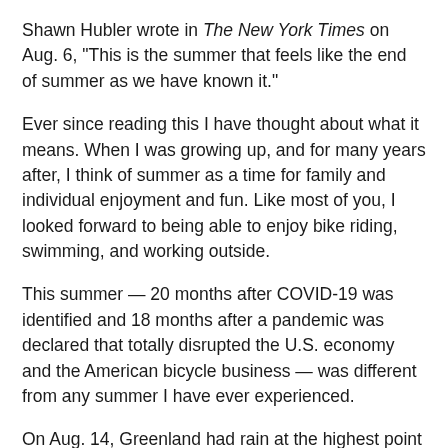Shawn Hubler wrote in The New York Times on Aug. 6, "This is the summer that feels like the end of summer as we have known it."
Ever since reading this I have thought about what it means. When I was growing up, and for many years after, I think of summer as a time for family and individual enjoyment and fun. Like most of you, I looked forward to being able to enjoy bike riding, swimming, and working outside.
This summer — 20 months after COVID-19 was identified and 18 months after a pandemic was declared that totally disrupted the U.S. economy and the American bicycle business — was different from any summer I have ever experienced.
On Aug. 14, Greenland had rain at the highest point of its ice sheet for the first time in recorded history. There were bare rocks where snow once capped the Sierra Nevada. Wildfires burned across the West, creating their own weather and sending smoke and large particle pollution up to the jet